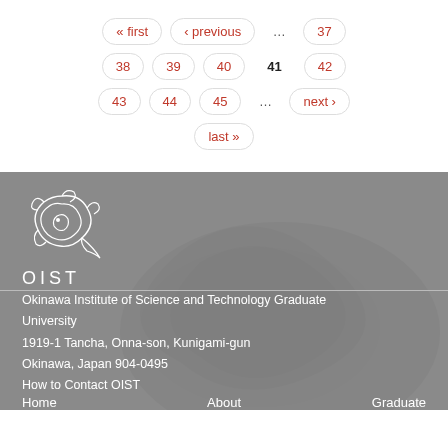« first
‹ previous
...
37
38
39
40
41 (current)
42
43
44
45
...
next ›
last »
[Figure (logo): OIST logo — stylized dragon emblem in white with text OIST below]
Okinawa Institute of Science and Technology Graduate University
1919-1 Tancha, Onna-son, Kunigami-gun
Okinawa, Japan 904-0495
How to Contact OIST
Home   About   Graduate